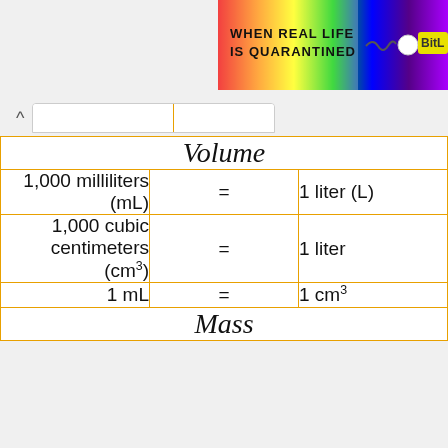[Figure (illustration): Colorful rainbow banner with text 'WHEN REAL LIFE IS QUARANTINED' and 'BitL' logo on right side]
| Volume |  |  |
| --- | --- | --- |
| 1,000 milliliters (mL) | = | 1 liter (L) |
| 1,000 cubic centimeters (cm³) | = | 1 liter |
| 1 mL | = | 1 cm³ |
| Mass |  |  |